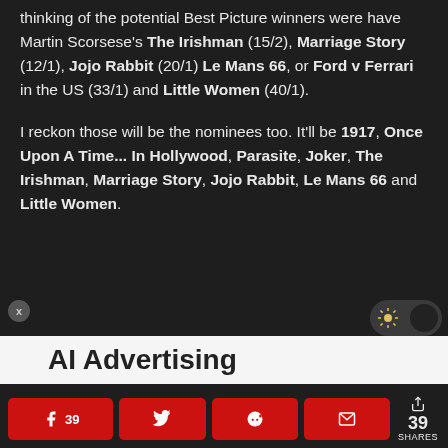thinking of the potential Best Picture winners were have Martin Scorsese's The Irishman (15/2), Marriage Story (12/1), Jojo Rabbit (20/1) Le Mans 66, or Ford v Ferrari in the US (33/1) and Little Women (40/1).
I reckon those will be the nominees too. It'll be 1917, Once Upon A Time... In Hollywood, Parasite, Joker, The Irishman, Marriage Story, Jojo Rabbit, Le Mans 66 and Little Women.
[Figure (screenshot): Dark mode toggle button and close button UI elements]
[Figure (screenshot): AI Advertising banner ad partial view]
[Figure (infographic): Social share bar with Facebook (39), Twitter, Reddit, Email buttons and total 39 SHARES count]